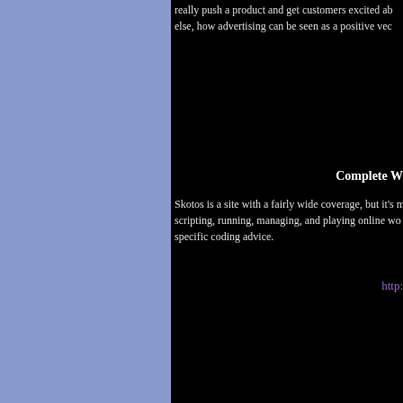really push a product and get customers excited ab else, how advertising can be seen as a positive vec
Complete W
Skotos is a site with a fairly wide coverage, but it's m scripting, running, managing, and playing online wo specific coding advice.
http:
[Figure (photo): Book cover for Multiagent Systems]
Multiagent Systems: Algori
This book serves as a new overview of multiple interacting intelligent agents. multiagent systems, while integrating r logic, and even philosophy and linguis
[Figure (photo): Book cover for An Introduction to Multi-Agent Systems]
An Intro
The study of multi-agent systems or M interact with each other. The